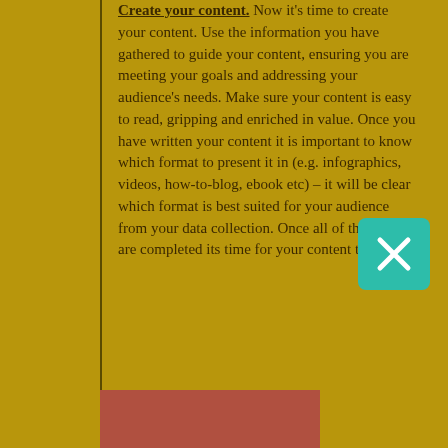Create your content. Now it's time to create your content. Use the information you have gathered to guide your content, ensuring you are meeting your goals and addressing your audience's needs. Make sure your content is easy to read, gripping and enriched in value. Once you have written your content it is important to know which format to present it in (e.g. infographics, videos, how-to-blog, ebook etc) – it will be clear which format is best suited for your audience from your data collection. Once all of these steps are completed its time for your content to go live!
[Figure (other): Teal/green rounded square button with a white X (close/delete icon)]
[Figure (other): Reddish-brown rectangle partially visible at the bottom of the page]